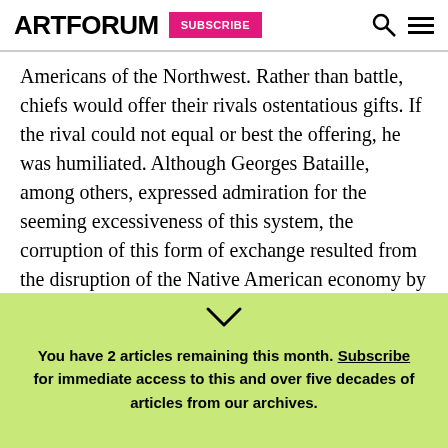ARTFORUM  SUBSCRIBE
Americans of the Northwest. Rather than battle, chiefs would offer their rivals ostentatious gifts. If the rival could not equal or best the offering, he was humiliated. Although Georges Bataille, among others, expressed admiration for the seeming excessiveness of this system, the corruption of this form of exchange resulted from the disruption of the Native American economy by the Europe-based fur trade; prior to that, it had served as a more sensible alternative to war. This junk sculpture partly
You have 2 articles remaining this month. Subscribe for immediate access to this and over five decades of articles from our archives.